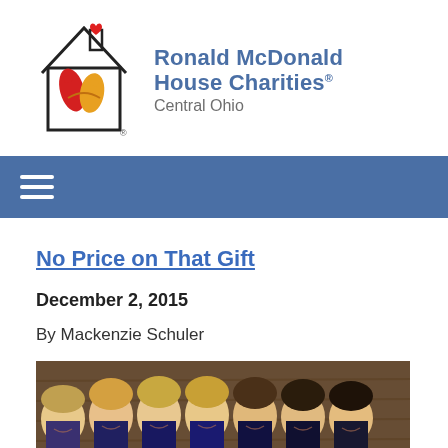[Figure (logo): Ronald McDonald House Charities Central Ohio logo: a house outline with two hands and a red heart, next to the organization name in blue and gray text]
[Figure (other): Navigation bar with hamburger menu icon (three white horizontal lines) on blue background]
No Price on That Gift
December 2, 2015
By Mackenzie Schuler
[Figure (photo): Group photo of seven women smiling, taken indoors with a wood-paneled wall background, photo cropped showing mostly their faces and shoulders]